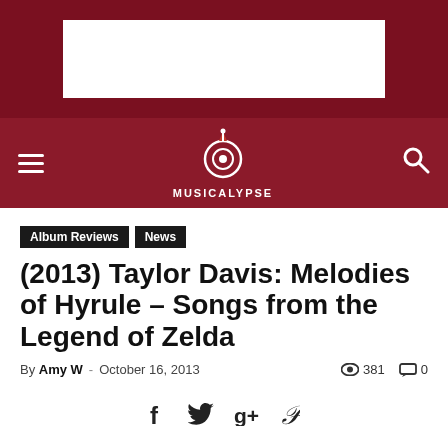[Figure (screenshot): Website header with dark red background and white advertisement box in center]
MUSICALYPSE — navigation bar with hamburger menu, logo, and search icon
Album Reviews
News
(2013) Taylor Davis: Melodies of Hyrule – Songs from the Legend of Zelda
By Amy W - October 16, 2013   381  0
[Figure (infographic): Social share icons: Facebook, Twitter, Google+, Pinterest]